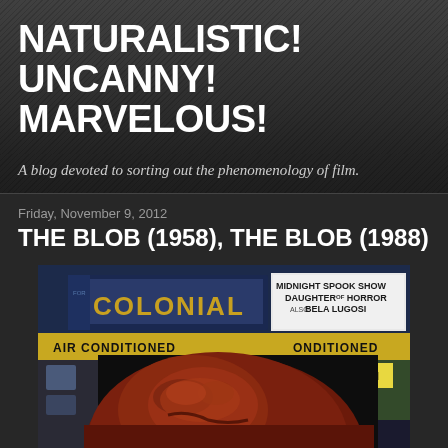NATURALISTIC! UNCANNY! MARVELOUS!
A blog devoted to sorting out the phenomenology of film.
Friday, November 9, 2012
THE BLOB (1958), THE BLOB (1988)
[Figure (photo): A movie still showing a large dark red blob creature in front of a colonial movie theater marquee advertising a Midnight Spook Show with Daughter of Horror also Bela Lugosi, with Air Conditioned signage visible.]